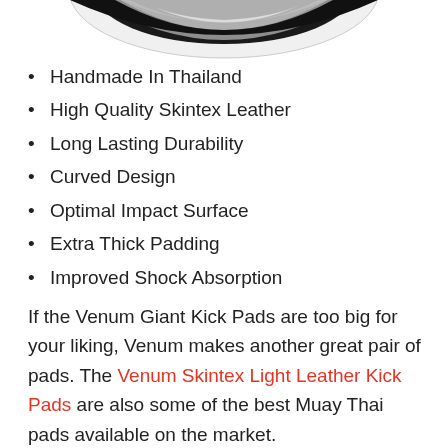[Figure (photo): Partial image of a kick pad (black and white), cropped at the top of the page]
Handmade In Thailand
High Quality Skintex Leather
Long Lasting Durability
Curved Design
Optimal Impact Surface
Extra Thick Padding
Improved Shock Absorption
If the Venum Giant Kick Pads are too big for your liking, Venum makes another great pair of pads. The Venum Skintex Light Leather Kick Pads are also some of the best Muay Thai pads available on the market.